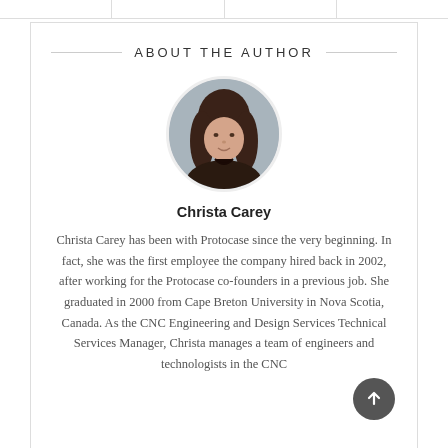ABOUT THE AUTHOR
[Figure (photo): Circular portrait photo of Christa Carey, a woman with long brown hair wearing a dark top, against a grey background.]
Christa Carey
Christa Carey has been with Protocase since the very beginning. In fact, she was the first employee the company hired back in 2002, after working for the Protocase co-founders in a previous job. She graduated in 2000 from Cape Breton University in Nova Scotia, Canada. As the CNC Engineering and Design Services Technical Services Manager, Christa manages a team of engineers and technologists in the CNC